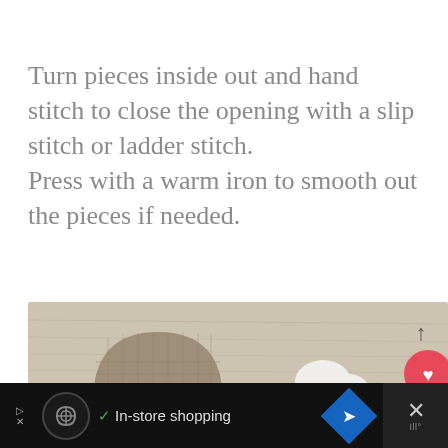Turn pieces inside out and hand stitch to close the opening with a slip stitch or ladder stitch.
Press with a warm iron to smooth out the pieces if needed.
[Figure (photo): A photo showing a burlap/linen fabric pouch with a small zipper, a white fabric piece shaped like a rounded cloud, and a small oval piece on a wood-grain surface. UI overlay shows a heart button, share button, and a 'What's Next' panel for 'Puppy Key Holder Free...'. A watermark reads 'Tutorial © Craft Passion'.]
In-store shopping (advertisement bar at bottom)